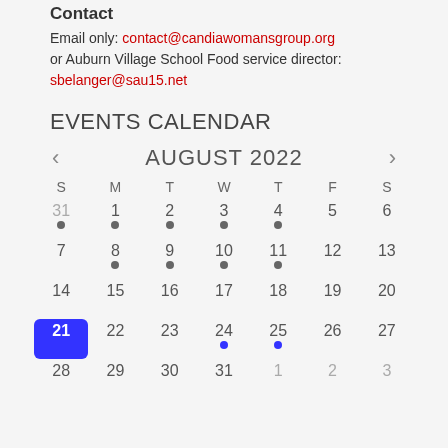Contact
Email only: contact@candiawomansgroup.org
or Auburn Village School Food service director:
sbelanger@sau15.net
EVENTS CALENDAR
[Figure (other): August 2022 calendar with navigation arrows. Days with gray dots: 31,1,2,3,4 (week1), 8,9,10,11 (week2). Day 21 highlighted in blue. Days 24,25 have blue dots. Last row shows 28,29,30,31,1,2,3.]